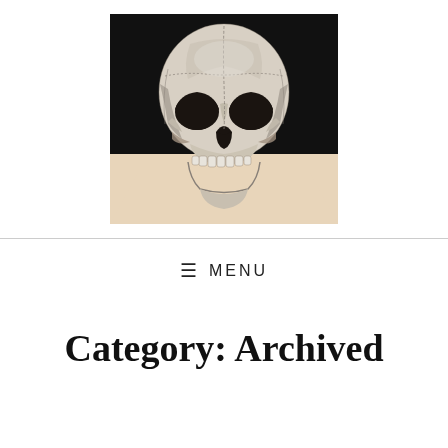[Figure (illustration): Black and white detailed illustration of a human skull facing front, set against a black background at the top and a beige/cream triangular area at the bottom. The skull is rendered in a classic anatomical engraving style.]
≡ MENU
Category: Archived